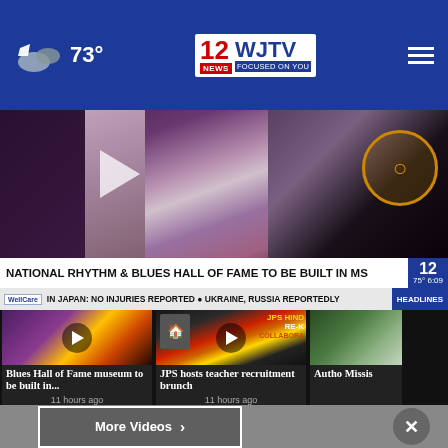73° | WJTV 12 News Focused On You
[Figure (screenshot): Hero video still showing blues/music venue interior with purple decor. Ticker overlay: NATIONAL RHYTHM & BLUES HALL OF FAME TO BE BUILT IN MS. Temperature 75°, time 6:09.]
NATIONAL RHYTHM & BLUES HALL OF FAME TO BE BUILT IN MS
IN JAPAN: NO INJURIES REPORTED ● UKRAINE, RUSSIA REPORTEDLY HEADLINES
[Figure (screenshot): Video thumbnail for Blues Hall of Fame museum story showing colorful nightlife scene]
Blues Hall of Fame museum to be built in...
11 hours ago
[Figure (screenshot): Video thumbnail showing JPS HIND RE-K COLLABORA logo graphic]
JPS hosts teacher recruitment brunch
11 hours ago
[Figure (screenshot): Partial third video thumbnail showing outdoor scene]
Autho Mississippi
More Videos ›
[Figure (advertisement): Patty Peck Honda advertisement with Live Eye Cam Channel 12 - View Live Traffic & Weather]